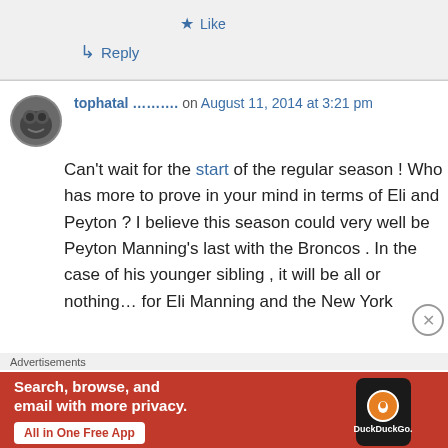★ Like
↳ Reply
tophatal ........... on August 11, 2014 at 3:21 pm
Can't wait for the start of the regular season ! Who has more to prove in your mind in terms of Eli and Peyton ? I believe this season could very well be Peyton Manning's last with the Broncos . In the case of his younger sibling , it will be all or nothing... for Eli Manning and the New York
Advertisements
[Figure (screenshot): DuckDuckGo advertisement banner: orange/red background with phone image showing DuckDuckGo app. Text reads 'Search, browse, and email with more privacy. All in One Free App']